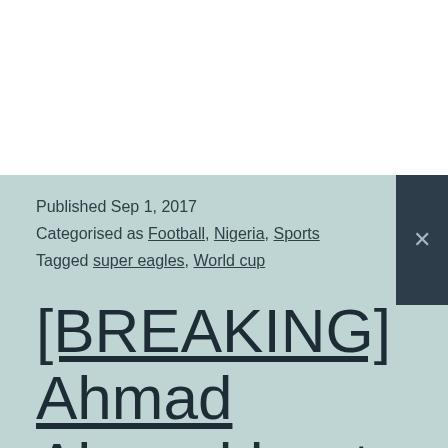Published Sep 1, 2017
Categorised as Football, Nigeria, Sports
Tagged super eagles, World cup
[BREAKING] Ahmad Ahmad beats Issa Hayatou to emerge as new #CAF PRESIDENT